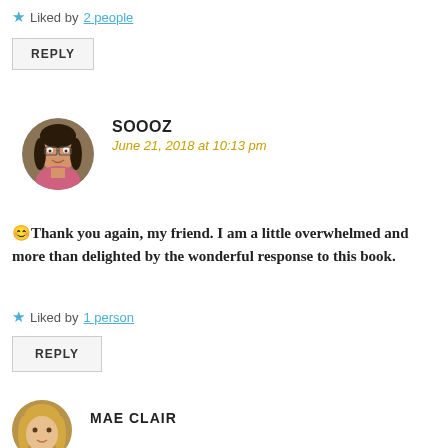★ Liked by 2 people
REPLY
SOOOZ
June 21, 2018 at 10:13 pm
😊Thank you again, my friend. I am a little overwhelmed and more than delighted by the wonderful response to this book.
★ Liked by 1 person
REPLY
MAE CLAIR